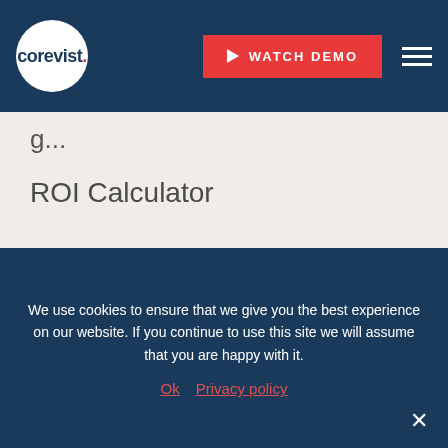[Figure (logo): Corevist logo: white circle with dark blue 'corevist.' text, red dot, on dark blue header background with WATCH DEMO button and hamburger menu]
ROI Calculator
COMPANY
Our Story
Careers
Team
Partners
Contact Us
We use cookies to ensure that we give you the best experience on our website. If you continue to use this site we will assume that you are happy with it.
Ok   Privacy policy